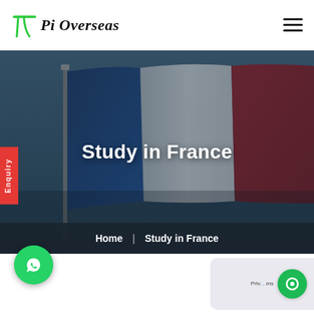[Figure (logo): Pi Overseas logo with green pi symbol and italic bold text 'Pi Overseas']
[Figure (photo): French tricolor flag waving on a pole against a dark blue-grey sky with 'Study in France' text overlay and breadcrumb navigation bar showing 'Home | Study in France']